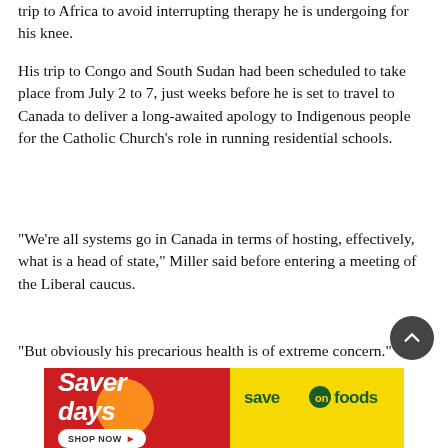trip to Africa to avoid interrupting therapy he is undergoing for his knee.
His trip to Congo and South Sudan had been scheduled to take place from July 2 to 7, just weeks before he is set to travel to Canada to deliver a long-awaited apology to Indigenous people for the Catholic Church's role in running residential schools.
“We’re all systems go in Canada in terms of hosting, effectively, what is a head of state,” Miller said before entering a meeting of the Liberal caucus.
“But obviously his precarious health is of extreme concern.”
[Figure (other): Save On Foods advertisement banner — red left section with 'Saver days' text and a yellow circular graphic, white Shop Now button with arrow; yellow right section with Save On Foods logo]